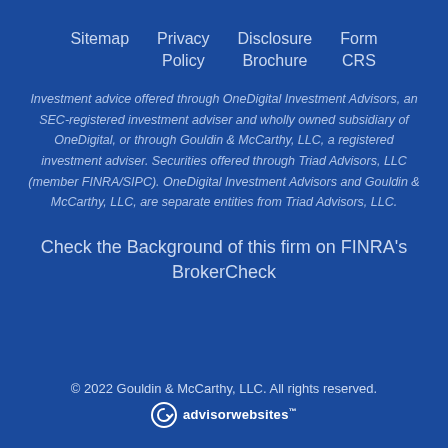Sitemap   Privacy Policy   Disclosure Brochure   Form CRS
Investment advice offered through OneDigital Investment Advisors, an SEC-registered investment adviser and wholly owned subsidiary of OneDigital, or through Gouldin & McCarthy, LLC, a registered investment adviser. Securities offered through Triad Advisors, LLC (member FINRA/SIPC). OneDigital Investment Advisors and Gouldin & McCarthy, LLC, are separate entities from Triad Advisors, LLC.
Check the Background of this firm on FINRA's BrokerCheck
© 2022 Gouldin & McCarthy, LLC. All rights reserved.
[Figure (logo): AdvisorWebsites logo with circular arrow icon and text 'advisorwebsites' with trademark symbol]